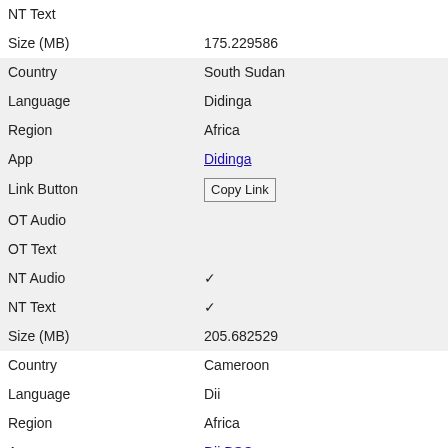| Field | Value |
| --- | --- |
| NT Text |  |
| Size (MB) | 175.229586 |
| Country | South Sudan |
| Language | Didinga |
| Region | Africa |
| App | Didinga |
| Link Button | Copy Link |
| OT Audio |  |
| OT Text |  |
| NT Audio | ✓ |
| NT Text | ✓ |
| Size (MB) | 205.682529 |
| Country | Cameroon |
| Language | Dii |
| Region | Africa |
| App | Dii BSC |
| Link Button | Copy Link |
| OT Audio |  |
| OT Text |  |
| NT Audio | ✓ |
| NT Text |  |
| Size (MB) | 164.399712 |